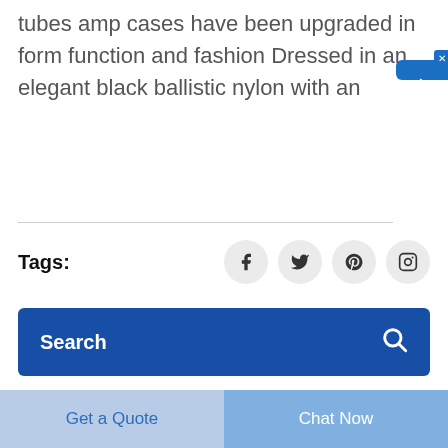tubes amp cases have been upgraded in form function and fashion Dressed in an elegant black ballistic nylon with an
[Figure (other): Blue chat widget on right side with Chinese characters reading 在线咨询 (online consultation) and a close button]
Tags:
[Figure (other): Social media icons: Facebook, Twitter, Pinterest, Instagram in light gray circles]
[Figure (other): Dark blue search bar with Search label and magnifying glass icon]
Get a Quote
Chat Now